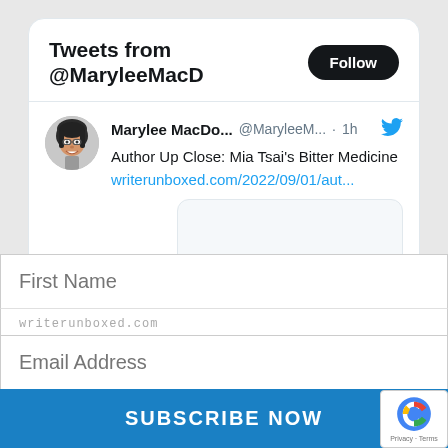[Figure (screenshot): Twitter widget showing tweets from @MaryleeMacD with a Follow button, a tweet by Marylee MacDo... about 'Author Up Close: Mia Tsai's Bitter Medicine' with a link to writerunboxed.com/2022/09/01/aut..., overlaid by a subscription form with First Name field, Email Address field, and a SUBSCRIBE NOW button, plus a reCAPTCHA badge in the corner.]